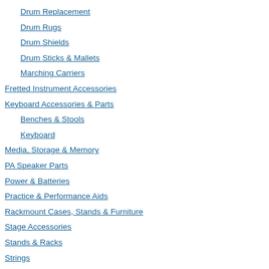Drum Replacement
Drum Rugs
Drum Shields
Drum Sticks & Mallets
Marching Carriers
Fretted Instrument Accessories
Keyboard Accessories & Parts
Benches & Stools
Keyboard
Media, Storage & Memory
PA Speaker Parts
Power & Batteries
Practice & Performance Aids
Rackmount Cases, Stands & Furniture
Stage Accessories
Stands & Racks
Strings
Autoharp Strings
Banjo Strings